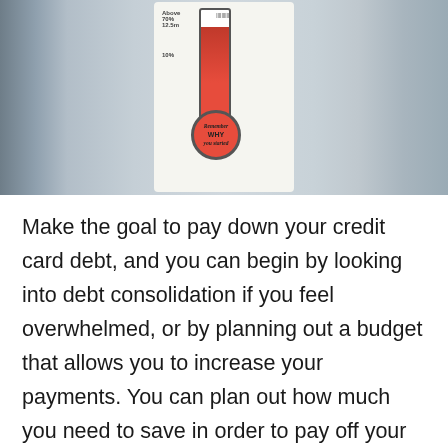[Figure (photo): A thermometer-style debt payoff tracker on paper attached to a refrigerator, with red fill and the text 'Remember WHY you started' in the bulb, with percentage markers along the tube.]
Make the goal to pay down your credit card debt, and you can begin by looking into debt consolidation if you feel overwhelmed, or by planning out a budget that allows you to increase your payments. You can plan out how much you need to save in order to pay off your debt, or make a significant dent in it, by the end of this new year.
Read How to Pay Off Debt Fast...